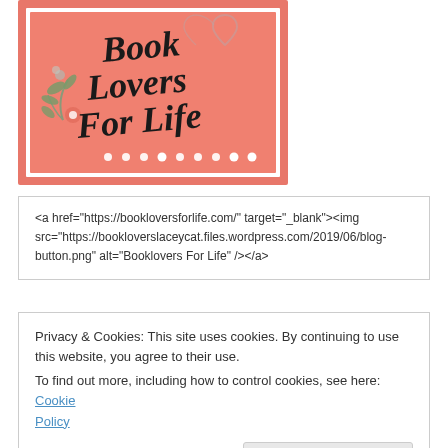[Figure (illustration): Book Lovers For Life blog button image — pink/salmon background with cursive script text 'Book Lovers For Life', floral decorations, and white dots along the bottom, shown in a white-bordered frame.]
<a href="https://bookloversforlife.com/" target="_blank"><img src="https://bookloverslaceycat.files.wordpress.com/2019/06/blog-button.png" alt="Booklovers For Life" /></a>
Privacy & Cookies: This site uses cookies. By continuing to use this website, you agree to their use.
To find out more, including how to control cookies, see here: Cookie Policy